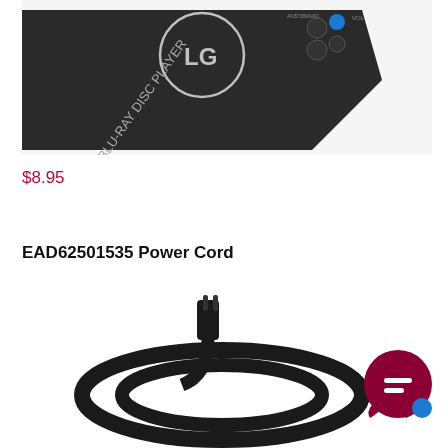[Figure (photo): LG Blu-Ray Disc Player remote control, dark gray color, partial top-down view showing buttons and LG logo]
$8.95
EAD62501535 Power Cord
[Figure (photo): Black power cord coiled, with a standard two-prong plug visible at the top]
[Figure (illustration): Dark red circular chat bubble icon with an equals sign (chat icon) in the bottom right corner]